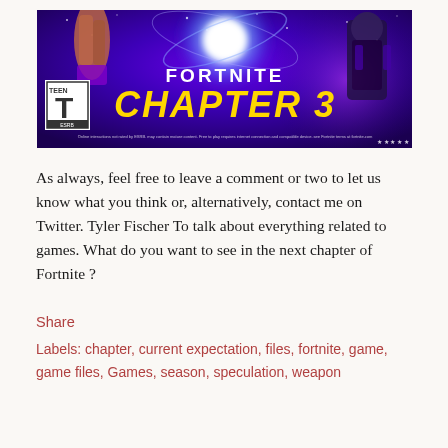[Figure (illustration): Fortnite Chapter 3 promotional banner image with purple galaxy background, two game characters, a bright glowing orb in the center, 'FORTNITE' in white bold text, 'CHAPTER 3' in large yellow stylized text, and a Teen ESRB rating box in the lower left corner.]
As always, feel free to leave a comment or two to let us know what you think or, alternatively, contact me on Twitter. Tyler Fischer To talk about everything related to games. What do you want to see in the next chapter of Fortnite ?
Share
Labels: chapter, current expectation, files, fortnite, game, game files, Games, season, speculation, weapon